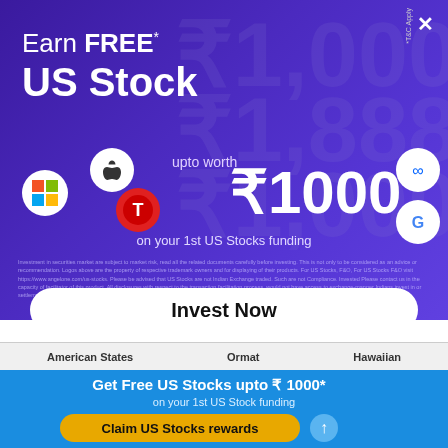[Figure (infographic): Purple promotional banner for US stock trading app offering free US stocks worth ₹1000 on first funding. Shows Apple, Microsoft, Tesla, Meta, and Google logos. Features large text: Earn FREE* US Stock upto worth ₹1000 on your 1st US Stocks funding.]
Invest Now
American States   Ormat   Hawaiian
Get Free US Stocks upto ₹ 1000*
on your 1st US Stock funding
Claim US Stocks rewards